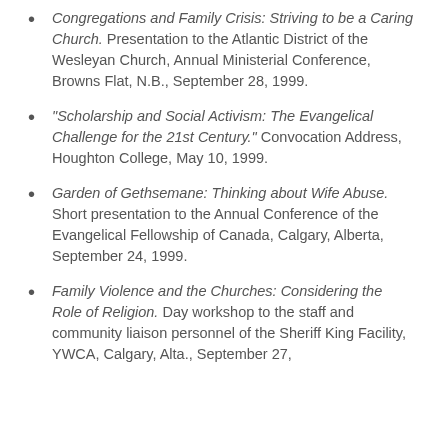Congregations and Family Crisis: Striving to be a Caring Church. Presentation to the Atlantic District of the Wesleyan Church, Annual Ministerial Conference, Browns Flat, N.B., September 28, 1999.
"Scholarship and Social Activism: The Evangelical Challenge for the 21st Century." Convocation Address, Houghton College, May 10, 1999.
Garden of Gethsemane: Thinking about Wife Abuse. Short presentation to the Annual Conference of the Evangelical Fellowship of Canada, Calgary, Alberta, September 24, 1999.
Family Violence and the Churches: Considering the Role of Religion. Day workshop to the staff and community liaison personnel of the Sheriff King Facility, YWCA, Calgary, Alta., September 27,